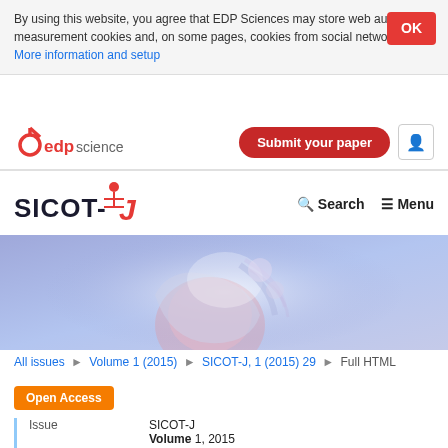By using this website, you agree that EDP Sciences may store web audience measurement cookies and, on some pages, cookies from social networks. More information and setup
[Figure (logo): EDP Sciences logo with red 'edp' and grey 'sciences' text]
Submit your paper
[Figure (logo): SICOT-J journal logo with red italic J]
Search  Menu
[Figure (illustration): Medical banner illustration showing stylized joint anatomy in blue/purple tones]
All issues ▶ Volume 1 (2015) ▶ SICOT-J, 1 (2015) 29 ▶ Full HTML
Open Access
| Issue | SICOT-J
Volume 1, 2015 |
| Article Number | 29 |